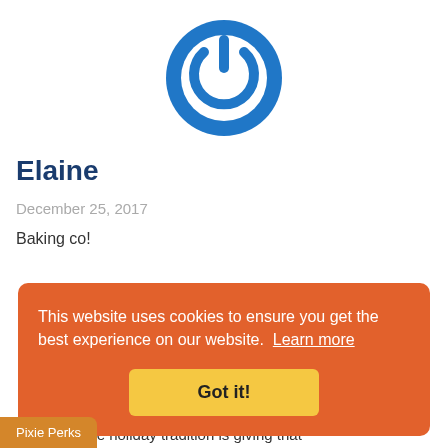[Figure (logo): Blue circular power button logo / avatar for user Elaine]
Elaine
December 25, 2017
Baking co!
[Figure (logo): Partial blue circular logo for second user, partially behind cookie banner]
This website uses cookies to ensure you get the best experience on our website.  Learn more
Got it!
Pixie Perks
avorite holiday tradition is giving that